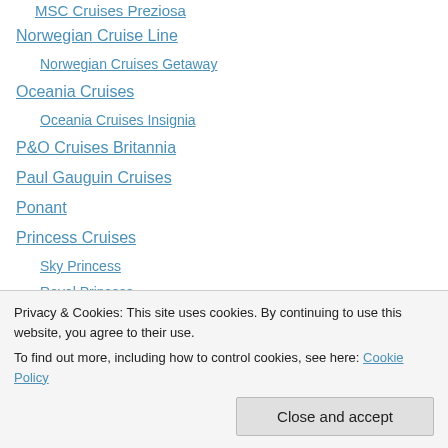MSC Cruises Preziosa
Norwegian Cruise Line
Norwegian Cruises Getaway
Oceania Cruises
Oceania Cruises Insignia
P&O Cruises Britannia
Paul Gauguin Cruises
Ponant
Princess Cruises
Sky Princess
Royal Princess
Royal Caribbean Cruises (partially visible)
Privacy & Cookies: This site uses cookies. By continuing to use this website, you agree to their use. To find out more, including how to control cookies, see here: Cookie Policy
Close and accept